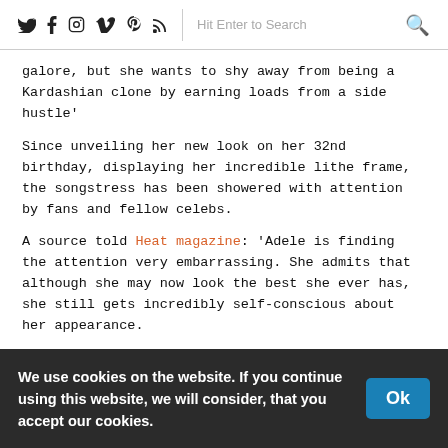[social icons: Twitter, Facebook, Instagram, Vimeo, Pinterest, RSS] | Hit Enter to Search [search icon]
galore, but she wants to shy away from being a Kardashian clone by earning loads from a side hustle'
Since unveiling her new look on her 32nd birthday, displaying her incredible lithe frame, the songstress has been showered with attention by fans and fellow celebs.
A source told Heat magazine: 'Adele is finding the attention very embarrassing. She admits that although she may now look the best she ever has, she still gets incredibly self-conscious about her appearance.
'She sometimes finds it hard to believe that she looks as good as people say she does. She says she's shocked when she looks in the mirror, but she's really enjoying buying so
We use cookies on the website. If you continue using this website, we will consider, that you accept our cookies.